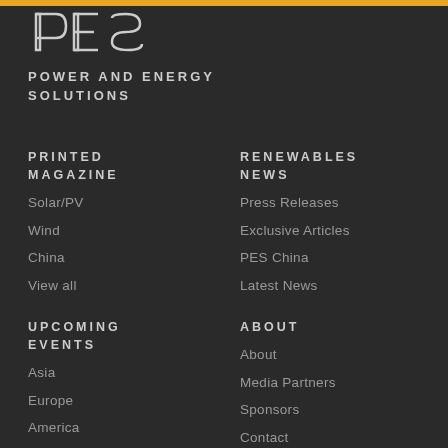[Figure (logo): PES logo in white outline on dark background]
POWER AND ENERGY SOLUTIONS
PRINTED MAGAZINE
Solar/PV
Wind
China
View all
RENEWABLES NEWS
Press Releases
Exclusive Articles
PES China
Latest News
UPCOMING EVENTS
Asia
Europe
America
ABOUT
About
Media Partners
Sponsors
Contact